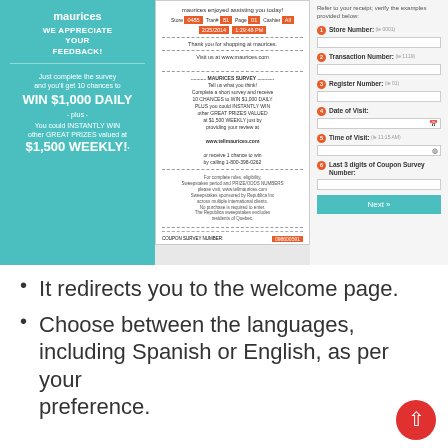[Figure (screenshot): Screenshot of Maurices customer satisfaction survey website, showing a teal left panel with 'WE APPRECIATE YOUR FEEDBACK!' and prize information (WIN $1,000 DAILY, $1,500 WEEKLY!), a center panel showing a store receipt with barcode and survey details, and a right panel with a form asking for Store Number, Transaction Number, Register Number, Date of Visit, Time of Visit, and Last 3 digits of Coupon Survey Number, with a teal Next button.]
It redirects you to the welcome page.
Choose between the languages, including Spanish or English, as per your preference.